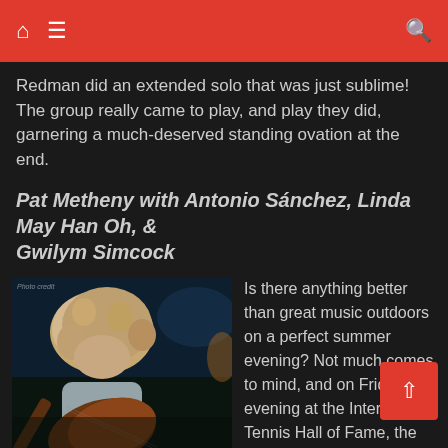navigation bar with home, menu, and search icons
Redman did an extended solo that was just sublime! The group really came to play, and play they did, garnering a much-deserved standing ovation at the end.
Pat Metheny with Antonio Sánchez, Linda May Han Oh, & Gwilym Simcock
[Figure (photo): A musician with long curly hair bent over playing an ornate guitar on a dark stage]
Is there anything better than great music outdoors on a perfect summer evening? Not much comes to mind, and on Friday evening at the International Tennis Hall of Fame, the music continued in a big way with famed guitarist Pat